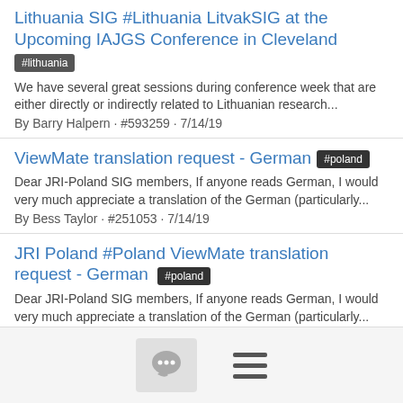Lithuania SIG #Lithuania LitvakSIG at the Upcoming IAJGS Conference in Cleveland
#lithuania
We have several great sessions during conference week that are either directly or indirectly related to Lithuanian research...
By Barry Halpern · #593259 · 7/14/19
ViewMate translation request - German #poland
Dear JRI-Poland SIG members, If anyone reads German, I would very much appreciate a translation of the German (particularly...
By Bess Taylor · #251053 · 7/14/19
JRI Poland #Poland ViewMate translation request - German #poland
Dear JRI-Poland SIG members, If anyone reads German, I would very much appreciate a translation of the German (particularly...
By Bess Taylor · #571372 · 7/14/19
ViewMate translation request - Russian #poland